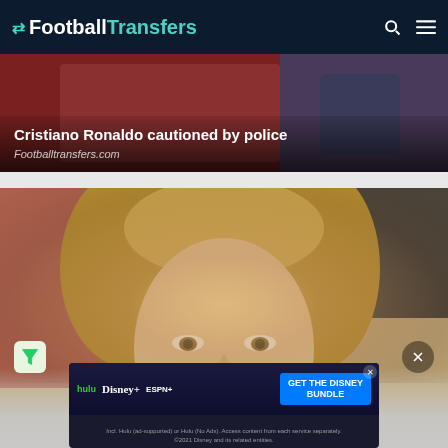FootballTransfers
[Figure (photo): Article card showing Cristiano Ronaldo cautioned by police with red sports bag in background]
Cristiano Ronaldo cautioned by police
Footballtransfers.com
[Figure (photo): Close-up photo of a blonde woman's face against a red background with camera equipment]
[Figure (screenshot): Disney Bundle advertisement banner featuring Hulu, Disney+, ESPN+ logos with 'GET THE DISNEY BUNDLE' call to action. Text: Incl. Hulu (ad-supported) or Hulu (No Ads). Access content from each service separately. ©2021 Disney and its related entities.]